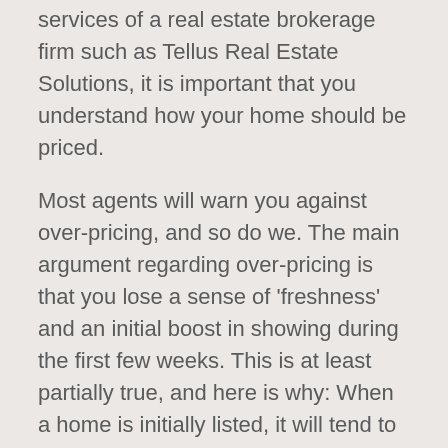services of a real estate brokerage firm such as Tellus Real Estate Solutions, it is important that you understand how your home should be priced.
Most agents will warn you against over-pricing, and so do we. The main argument regarding over-pricing is that you lose a sense of 'freshness' and an initial boost in showing during the first few weeks. This is at least partially true, and here is why: When a home is initially listed, it will tend to get quite a few visits from agents checking out the new homes on the market. Secondly, when you first enter the market you have a chance to make an impression on all the buyers in the market at that particular time as your home will appear in the search results based on their specific requirements. Most search systems